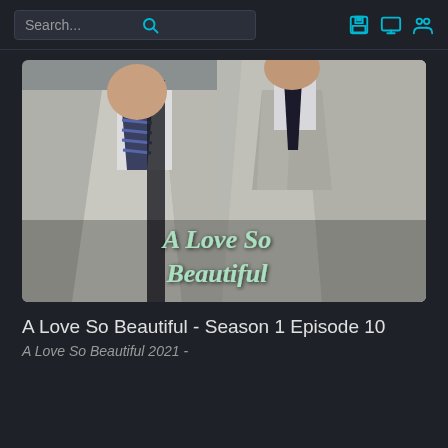Search...
[Figure (photo): Two students in grey school uniforms with ties. One has a striped bow tie, the other a dark solid tie and V-neck sweater vest. Text overlay reads 'A Love So Beautiful' in light green handwritten style font.]
A Love So Beautiful - Season 1 Episode 10
A Love So Beautiful 2021 -